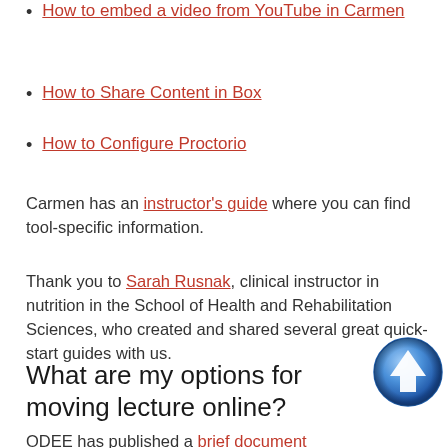How to embed a video from YouTube in Carmen
How to Share Content in Box
How to Configure Proctorio
Carmen has an instructor's guide where you can find tool-specific information.
Thank you to Sarah Rusnak, clinical instructor in nutrition in the School of Health and Rehabilitation Sciences, who created and shared several great quick-start guides with us.
What are my options for moving lecture online?
ODEE has published a brief document that breaks down the alternatives in two